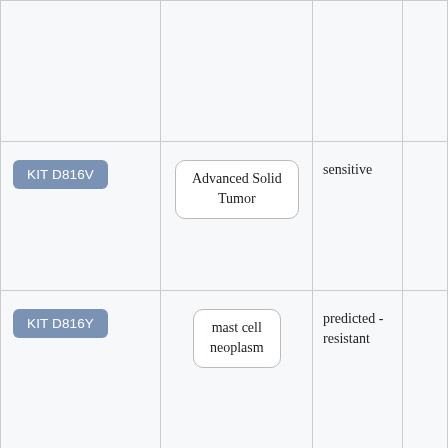| Variant | Cancer Type | Sensitivity |  |
| --- | --- | --- | --- |
|  |  |  |  |
| KIT D816V | Advanced Solid Tumor | sensitive |  |
| KIT D816Y | mast cell neoplasm | predicted - resistant |  |
| KIT D816Y | Advanced Solid Tumor | resistant |  |